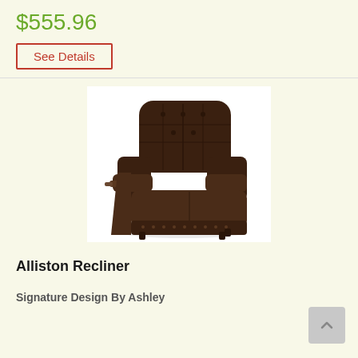$555.96
See Details
[Figure (photo): Dark brown leather recliner chair (Alliston Recliner) with tufted back and padded armrests, shown at an angle on a white background.]
Alliston Recliner
Signature Design By Ashley